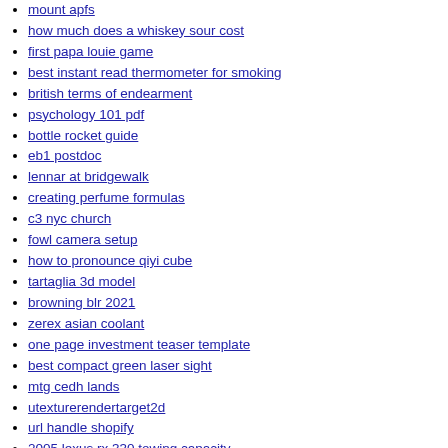mount apfs
how much does a whiskey sour cost
first papa louie game
best instant read thermometer for smoking
british terms of endearment
psychology 101 pdf
bottle rocket guide
eb1 postdoc
lennar at bridgewalk
creating perfume formulas
c3 nyc church
fowl camera setup
how to pronounce qiyi cube
tartaglia 3d model
browning blr 2021
zerex asian coolant
one page investment teaser template
best compact green laser sight
mtg cedh lands
utexturerendertarget2d
url handle shopify
2005 lexus rx 330 towing capacity
cast in spark sql
corvettes for sale 5000 or less craigslist
default authentication templates for host onboarding in cisco